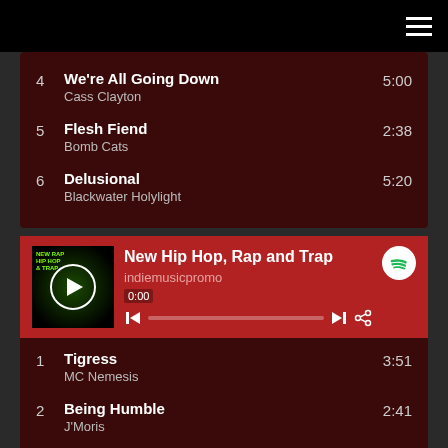4  We're All Going Down  5:00
Cass Clayton
5  Flesh Fiend  2:38
Bomb Cats
6  Delusional  5:20
Blackwater Holylight
[Figure (screenshot): Spotify player widget showing album art for 'New Hip Hop, Rap and Trap' playlist by indiemusicpromo with playback controls and progress bar showing 0:00]
1  Tigress  3:51
MC Nemesis
2  Being Humble  2:41
J'Moris